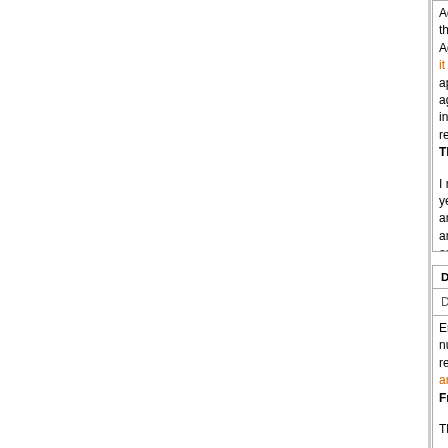Again it is interesting this landed her in a R Again it is odd that a it is okay for her to re appears to be hypoc again. It is filled with included it in the cas reputation of V-Serg Thursday 05/07/15
I received a phone ca yeiling at the clerk at and has avoided serv angry over the pendi order is and will have
| DO NOT DISCLOSE!: |
| --- |
| DomesticViolence |
England. I will conta number or area codee referencing this mas anyone in her agenc Friday 05/08/15
This morning I looke
Strategic lawsuit aga
From Wikipedia, the
Jump to: navigation,